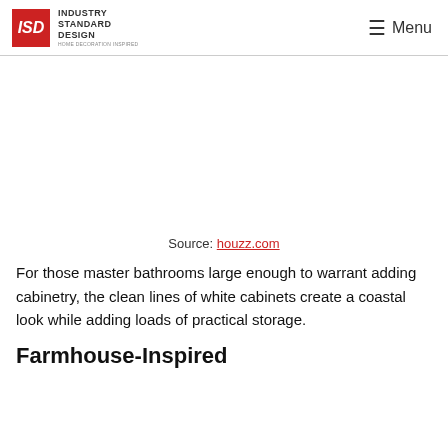Industry Standard Design — Menu
[Figure (other): Blank white area representing an image placeholder]
Source: houzz.com
For those master bathrooms large enough to warrant adding cabinetry, the clean lines of white cabinets create a coastal look while adding loads of practical storage.
Farmhouse-Inspired